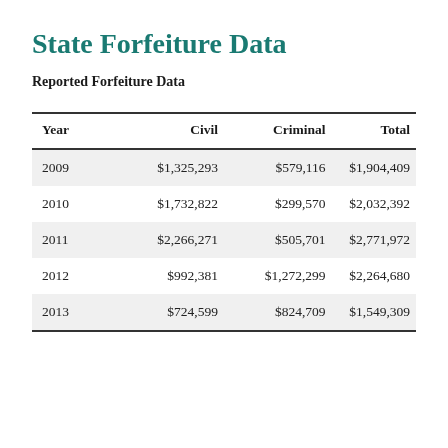State Forfeiture Data
Reported Forfeiture Data
| Year | Civil | Criminal | Total |
| --- | --- | --- | --- |
| 2009 | $1,325,293 | $579,116 | $1,904,409 |
| 2010 | $1,732,822 | $299,570 | $2,032,392 |
| 2011 | $2,266,271 | $505,701 | $2,771,972 |
| 2012 | $992,381 | $1,272,299 | $2,264,680 |
| 2013 | $724,599 | $824,709 | $1,549,309 |